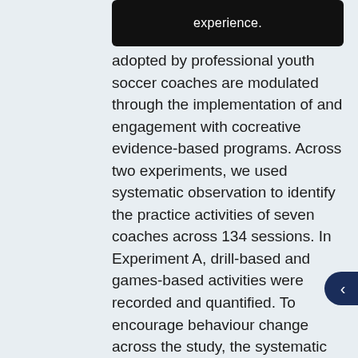experience.
adopted by professional youth soccer coaches are modulated through the implementation of and engagement with cocreative evidence-based programs. Across two experiments, we used systematic observation to identify the practice activities of seven coaches across 134 sessions. In Experiment A, drill-based and games-based activities were recorded and quantified. To encourage behaviour change across the study, the systematic observation data were compared with skill acquisition literature to provide coaches with quantitative feedback and recommendations during workshops. Postworkshop systematic observation data indicated that practice activities used by coaches changed in accordance with the evidenced-based information (increase in games-based activities) delivered within the workshop. Interview data indicated that